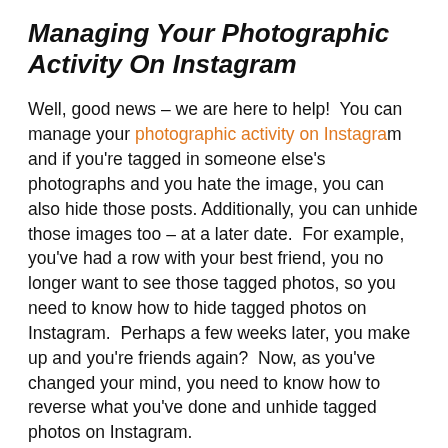Managing Your Photographic Activity On Instagram
Well, good news – we are here to help!  You can manage your photographic activity on Instagram and if you're tagged in someone else's photographs and you hate the image, you can also hide those posts.  Additionally, you can unhide those images too – at a later date.  For example, you've had a row with your best friend, you no longer want to see those tagged photos, so you need to know how to hide tagged photos on Instagram.  Perhaps a few weeks later, you make up and you're friends again?  Now, as you've changed your mind, you need to know how to reverse what you've done and unhide tagged photos on Instagram.
Let's dive straight in and learn how to hide tagged